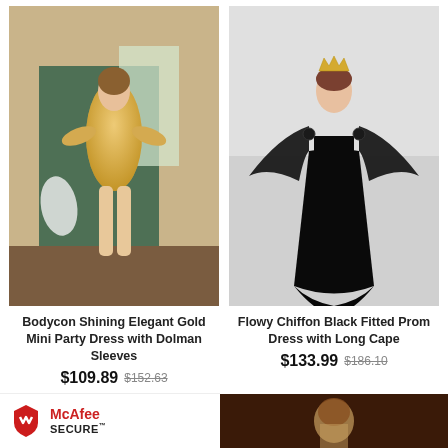[Figure (photo): Model wearing a bodycon shining gold sequin mini party dress with dolman sleeves, standing in a decorated room with green walls]
[Figure (photo): Model wearing a flowy chiffon black fitted prom dress with a long cape and black floral applique on shoulders, wearing a crown]
Bodycon Shining Elegant Gold Mini Party Dress with Dolman Sleeves
$109.89 $152.63
Flowy Chiffon Black Fitted Prom Dress with Long Cape
$133.99 $186.10
[Figure (logo): McAfee SECURE logo with shield icon]
[Figure (photo): Partial image at bottom right, dark brown/golden tones]